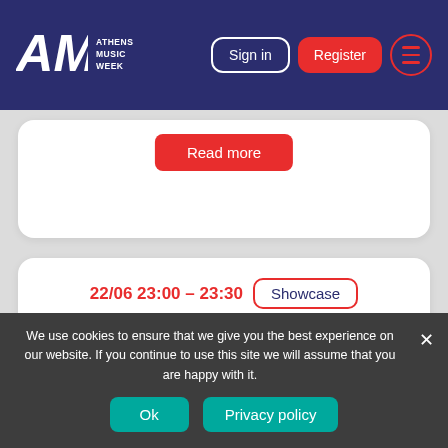[Figure (screenshot): Athens Music Week website header with logo, Sign in button, Register button, and hamburger menu]
Read more
22/06 23:00 - 23:30   Showcase
Temple Athens
We use cookies to ensure that we give you the best experience on our website. If you continue to use this site we will assume that you are happy with it.
Ok
Privacy policy